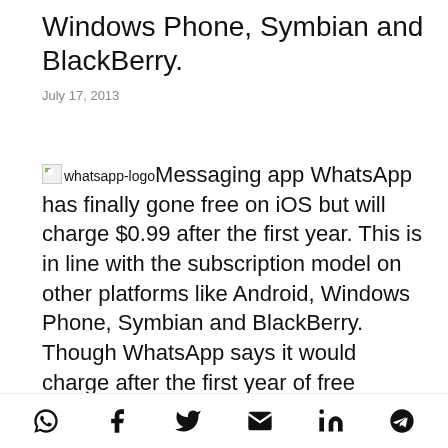Windows Phone, Symbian and BlackBerry.
July 17, 2013
Messaging app WhatsApp has finally gone free on iOS but will charge $0.99 after the first year. This is in line with the subscription model on other platforms like Android, Windows Phone, Symbian and BlackBerry. Though WhatsApp says it would charge after the first year of free service on all platforms we have still not come
Share icons: WhatsApp, Facebook, Twitter, Email, LinkedIn, Telegram